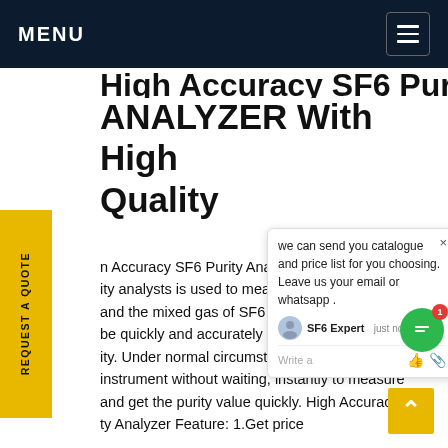MENU
ANALYZER With High Quality
HIGH ACCURACY SF6 PURITY ANALYZER (partial, scrolled). High Accuracy SF6 Purity Analyzer d... F6 ity analysts is used to measure SF6... and the mixed gas of SF6 and N2... be quickly and accurately measured... ity. Under normal circumstances... up instrument without waiting, instantly to measure and get the purity value quickly. High Accuracy SF6 ity Analyzer Feature: 1.Get price
REQUEST A QUOTE
we can send you catalogue and price list for you choosing. Leave us your email or whatsapp .
SF6 Expert  just now
Write a